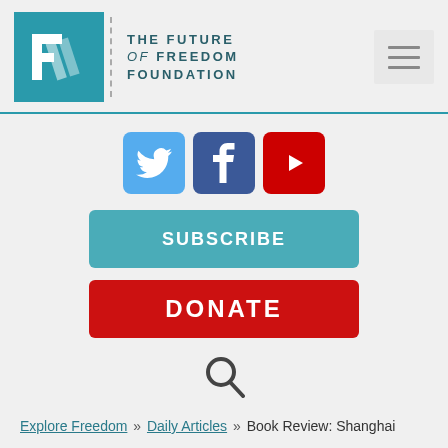[Figure (logo): The Future of Freedom Foundation logo with teal square and text]
[Figure (infographic): Social media icons row: Twitter (blue bird), Facebook (blue f), YouTube (red play button)]
[Figure (other): SUBSCRIBE button in teal]
[Figure (other): DONATE button in red]
[Figure (other): Search magnifying glass icon]
Explore Freedom >> Daily Articles >> Book Review: Shanghai